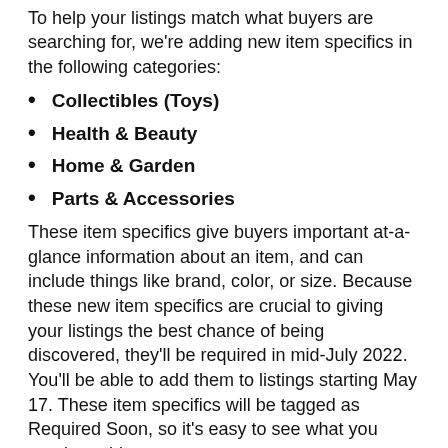To help your listings match what buyers are searching for, we're adding new item specifics in the following categories:
Collectibles (Toys)
Health & Beauty
Home & Garden
Parts & Accessories
These item specifics give buyers important at-a-glance information about an item, and can include things like brand, color, or size. Because these new item specifics are crucial to giving your listings the best chance of being discovered, they'll be required in mid-July 2022. You'll be able to add them to listings starting May 17. These item specifics will be tagged as Required Soon, so it's easy to see what you need to add.